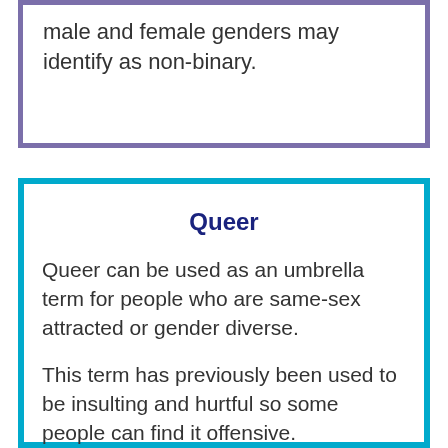male and female genders may identify as non-binary.
Queer
Queer can be used as an umbrella term for people who are same-sex attracted or gender diverse.
This term has previously been used to be insulting and hurtful so some people can find it offensive.
It is best to only use this term if someone has used it for themselves first (and they are happy for other people to use this term).